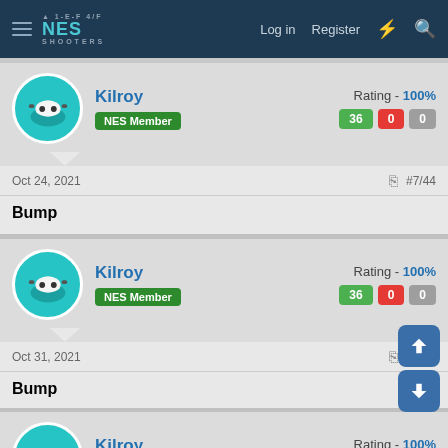NES Shooters — Log in  Register
[Figure (illustration): User avatar for Kilroy — teal circle with cartoon peering figure]
Kilroy
NES Member
Rating - 100%
36  0  0
Oct 24, 2021  #7/44
Bump
[Figure (illustration): User avatar for Kilroy — teal circle with cartoon peering figure]
Kilroy
NES Member
Rating - 100%
36  0  0
Oct 31, 2021  #8/44
Bump
[Figure (illustration): User avatar for Kilroy — teal circle with cartoon peering figure]
Kilroy
NES Member
Rating - 100%
36  0  0